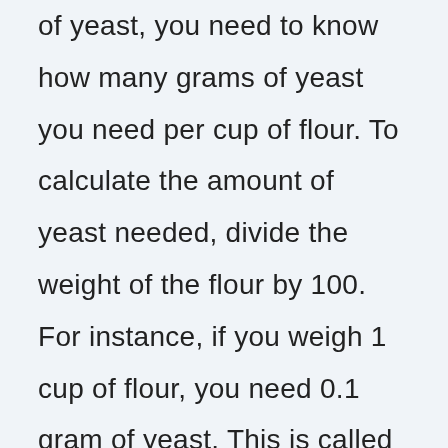of yeast, you need to know how many grams of yeast you need per cup of flour. To calculate the amount of yeast needed, divide the weight of the flour by 100. For instance, if you weigh 1 cup of flour, you need 0.1 gram of yeast. This is called active dry yeast. Active dry yeast is available in packages of 10, 25, 50, 75, and 100